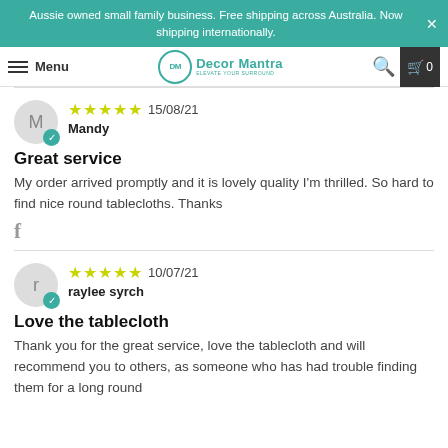Aussie owned small family business. Free shipping across Australia. Now shipping internationally.
Menu | Decor Mantra
15/08/21 Mandy — Great service — My order arrived promptly and it is lovely quality I'm thrilled. So hard to find nice round tablecloths. Thanks
10/07/21 raylee syrch — Love the tablecloth — Thank you for the great service, love the tablecloth and will recommend you to others, as someone who has had trouble finding them for a long round...